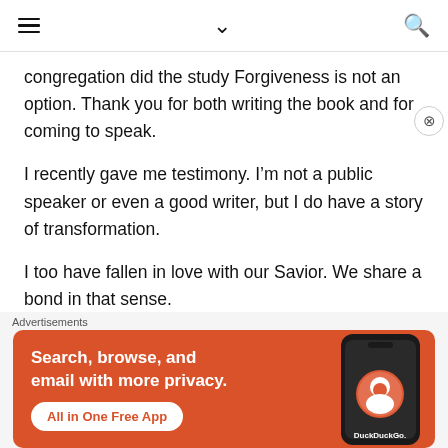≡ ∨ 🔍
congregation did the study Forgiveness is not an option. Thank you for both writing the book and for coming to speak.
I recently gave me testimony. I'm not a public speaker or even a good writer, but I do have a story of transformation.
I too have fallen in love with our Savior. We share a bond in that sense.
Please feel free to share my story with
[Figure (screenshot): DuckDuckGo advertisement banner: orange background, white bold text 'Search, browse, and email with more privacy.' with 'All in One Free App' button, and a phone image with DuckDuckGo logo and wordmark.]